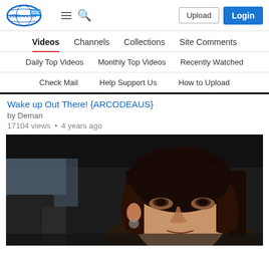153News.net navigation header with Upload and Login buttons
Videos | Channels | Collections | Site Comments
Daily Top Videos • Monthly Top Videos • Recently Watched
Check Mail • Help Support Us • How to Upload
Wake up Out There! {ARCODEAUS}
by Deman
17104 views • 4 years ago
[Figure (photo): Video thumbnail showing a woman sitting in a car, looking slightly upward, with dark interior and background visible through the windshield.]